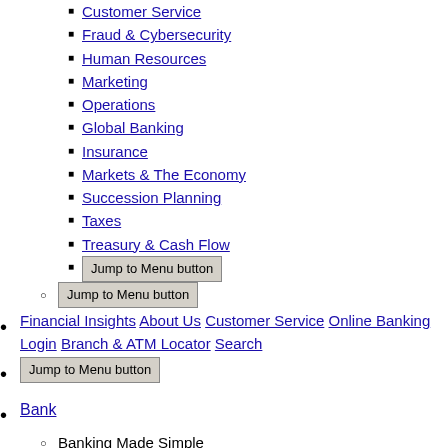Customer Service
Fraud & Cybersecurity
Human Resources
Marketing
Operations
Global Banking
Insurance
Markets & The Economy
Succession Planning
Taxes
Treasury & Cash Flow
Jump to Menu button
Jump to Menu button
Financial Insights About Us Customer Service Online Banking Login Branch & ATM Locator Search
Jump to Menu button
Bank
Banking Made Simple
Fifth Third Momentum® Banking
Fifth Third Preferred Banking
Banking Programs
Fifth Third Express Banking®
Products